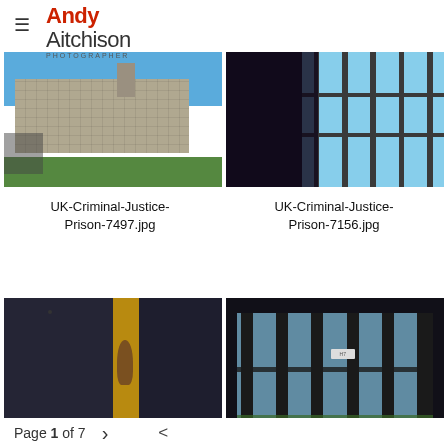Andy Aitchison PHOTOGRAPHER
[Figure (photo): Exterior view of a large stone prison building with blue sky and green lawn in foreground]
[Figure (photo): Silhouette of a person looking out through a barred prison window with blue sky outside]
UK-Criminal-Justice-Prison-7497.jpg
UK-Criminal-Justice-Prison-7156.jpg
[Figure (photo): Dark prison cell door ajar with yellow light and person visible behind it]
[Figure (photo): Dark interior view of barred prison window with daylight outside]
Page 1 of 7